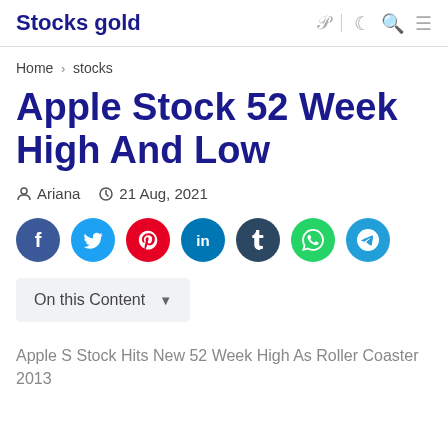Stocks gold
Home › stocks
Apple Stock 52 Week High And Low
Ariana   21 Aug, 2021
[Figure (other): Social share buttons: Facebook, Twitter, Pinterest, LinkedIn, Tumblr, WhatsApp, Telegram]
On this Content
Apple S Stock Hits New 52 Week High As Roller Coaster 2013